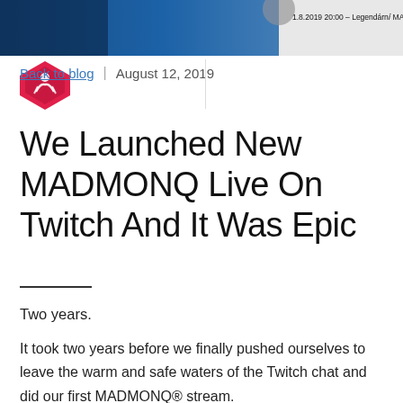[Figure (screenshot): Screenshot of a Twitch/social media post header banner showing '1.8.2019 20:00 – Legendární MADMONQ párty || www.madmonq.co' with a blue background and gaming imagery]
[Figure (logo): MADMONQ logo: red/pink diamond shape with a stylized figure/controller icon inside]
Back to blog  |  August 12, 2019
We Launched New MADMONQ Live On Twitch And It Was Epic
Two years.
It took two years before we finally pushed ourselves to leave the warm and safe waters of the Twitch chat and did our first MADMONQ® stream.